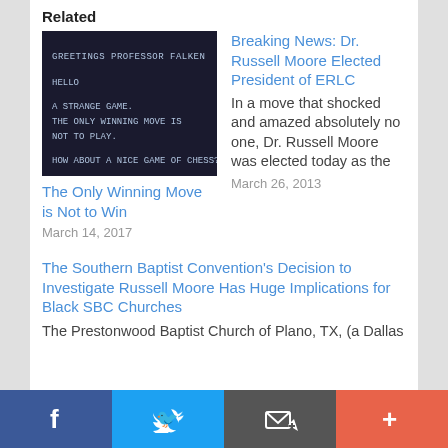Related
[Figure (screenshot): Dark terminal/computer screen showing text: GREETINGS PROFESSOR FALKEN / HELLO / A STRANGE GAME. THE ONLY WINNING MOVE IS NOT TO PLAY. / HOW ABOUT A NICE GAME OF CHESS?]
The Only Winning Move is Not to Win
March 14, 2017
Breaking News: Dr. Russell Moore Elected President of ERLC
In a move that shocked and amazed absolutely no one, Dr. Russell Moore was elected today as the
March 26, 2013
The Southern Baptist Convention's Decision to Investigate Russell Moore Has Huge Implications for Black SBC Churches
The Prestonwood Baptist Church of Plano, TX, (a Dallas
[Figure (infographic): Footer social share toolbar with Facebook, Twitter, email/share, and plus buttons]